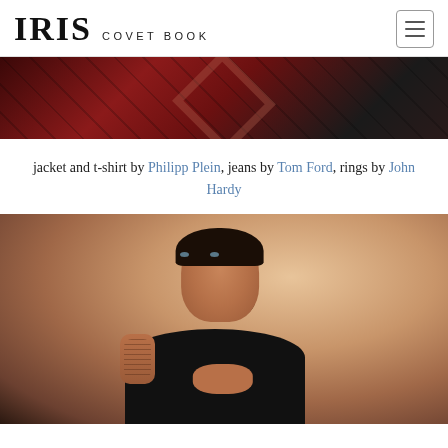IRIS COVET BOOK
[Figure (photo): Close-up of a dark red/burgundy textured jacket fabric against a dark background]
jacket and t-shirt by Philipp Plein, jeans by Tom Ford, rings by John Hardy
[Figure (photo): Portrait of a man with short brown hair and beard, wearing a black t-shirt, hands clasped together, with visible tattoos on arm, against a warm beige/tan background]